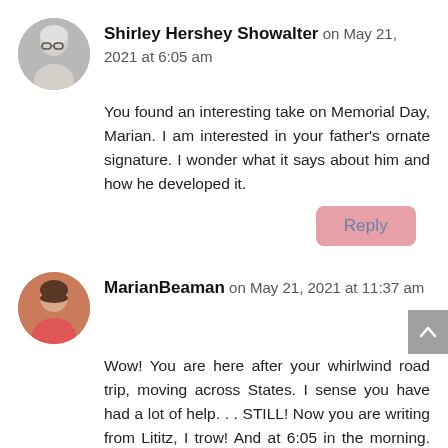Shirley Hershey Showalter on May 21, 2021 at 6:05 am
You found an interesting take on Memorial Day, Marian. I am interested in your father’s ornate signature. I wonder what it says about him and how he developed it.
Reply
MarianBeaman on May 21, 2021 at 11:37 am
Wow! You are here after your whirlwind road trip, moving across States. I sense you have had a lot of help. . . STILL! Now you are writing from Lititz, I trow! And at 6:05 in the morning. Impressive, Shirley!
We can only guess at the motivations of